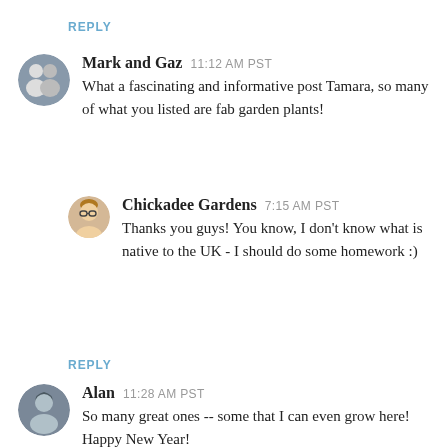REPLY
Mark and Gaz  11:12 AM PST
What a fascinating and informative post Tamara, so many of what you listed are fab garden plants!
Chickadee Gardens  7:15 AM PST
Thanks you guys! You know, I don't know what is native to the UK - I should do some homework :)
REPLY
Alan  11:28 AM PST
So many great ones -- some that I can even grow here! Happy New Year!
Chickadee Gardens  7:15 AM PST
Yay! Many of these plants are native to